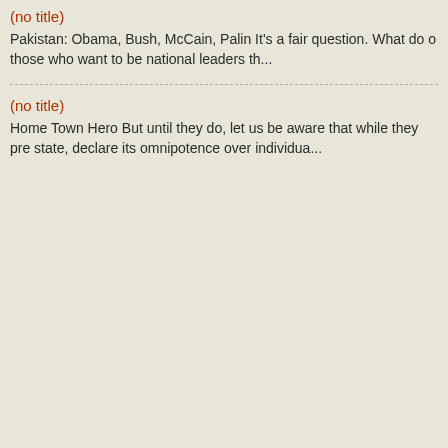(no title)
Pakistan: Obama, Bush, McCain, Palin It's a fair question. What do o those who want to be national leaders th...
(no title)
Home Town Hero But until they do, let us be aware that while they pre state, declare its omnipotence over individua...